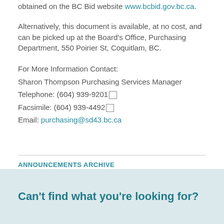obtained on the BC Bid website www.bcbid.gov.bc.ca.
Alternatively, this document is available, at no cost, and can be picked up at the Board's Office, Purchasing Department, 550 Poirier St, Coquitlam, BC.
For More Information Contact:
Sharon Thompson Purchasing Services Manager
Telephone: (604) 939-9201
Facsimile: (604) 939-4492
Email: purchasing@sd43.bc.ca
ANNOUNCEMENTS ARCHIVE
Can't find what you're looking for?